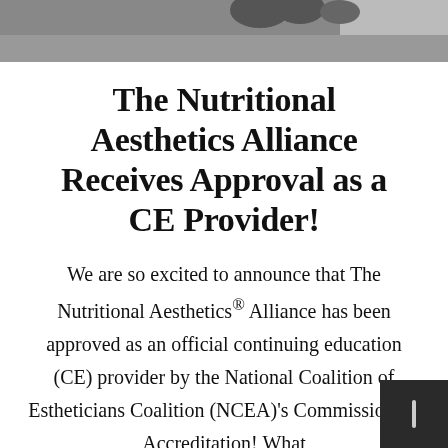[Figure (photo): Partial photo strip at top of page showing a hand, dark/grey background, cropped at the top edge]
The Nutritional Aesthetics Alliance Receives Approval as a CE Provider!
We are so excited to announce that The Nutritional Aesthetics® Alliance has been approved as an official continuing education (CE) provider by the National Coalition of Estheticians Coalition (NCEA)'s Commission on Accreditation! What